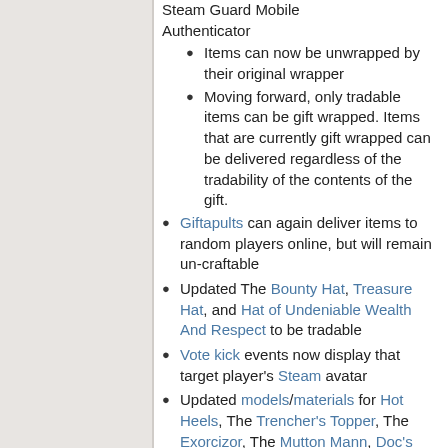Steam Guard Mobile Authenticator
Items can now be unwrapped by their original wrapper
Moving forward, only tradable items can be gift wrapped. Items that are currently gift wrapped can be delivered regardless of the tradability of the contents of the gift.
Giftapults can again deliver items to random players online, but will remain un-craftable
Updated The Bounty Hat, Treasure Hat, and Hat of Undeniable Wealth And Respect to be tradable
Vote kick events now display that target player's Steam avatar
Updated models/materials for Hot Heels, The Trencher's Topper, The Exorcizor, The Mutton Mann, Doc's Holiday, The Cotton Head